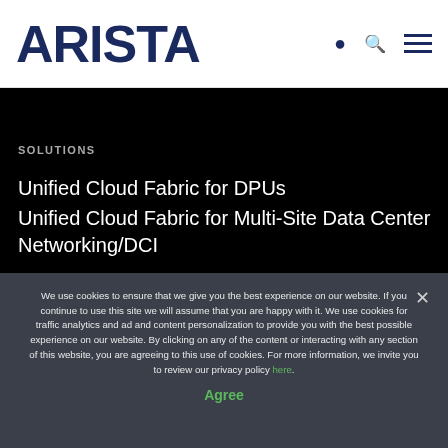[Figure (logo): Arista Networks logo in dark navy blue with search icon and hamburger menu icon on the right]
SOLUTIONS
Unified Cloud Fabric for DPUs
Unified Cloud Fabric for Multi-Site Data Center Networking/DCI
We use cookies to ensure that we give you the best experience on our website. If you continue to use this site we will assume that you are happy with it. We use cookies for traffic analytics and ad and content personalization to provide you with the best possible experience on our website. By clicking on any of the content or interacting with any section of this website, you are agreeing to this use of cookies. For more information, we invite you to review our privacy policy here.
Agree